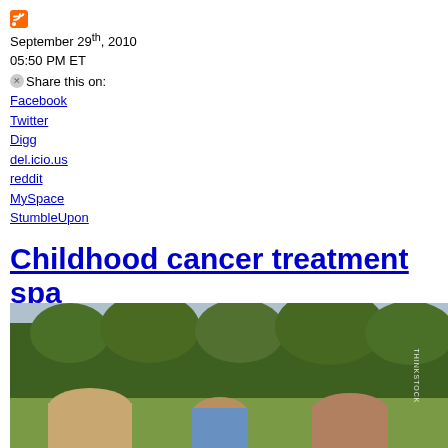[Figure (logo): RSS feed orange icon]
September 29th, 2010
05:50 PM ET
Share this on:
Facebook
Twitter
Digg
del.icio.us
reddit
MySpace
StumbleUpon
Childhood cancer treatment spa... "cure"
[Figure (photo): Children sitting in a field with trees and mountains in the background, viewed from behind. Thinkstock watermark visible.]